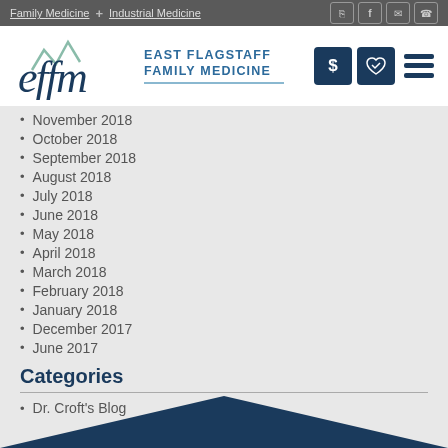Family Medicine + Industrial Medicine
[Figure (logo): East Flagstaff Family Medicine logo with stylized 'effm' script and mountain graphic, alongside EAST FLAGSTAFF FAMILY MEDICINE text and action buttons]
November 2018
October 2018
September 2018
August 2018
July 2018
June 2018
May 2018
April 2018
March 2018
February 2018
January 2018
December 2017
June 2017
Categories
Dr. Croft's Blog